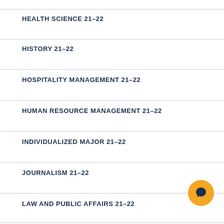HEALTH SCIENCE 21–22
HISTORY 21–22
HOSPITALITY MANAGEMENT 21–22
HUMAN RESOURCE MANAGEMENT 21–22
INDIVIDUALIZED MAJOR 21–22
JOURNALISM 21–22
LAW AND PUBLIC AFFAIRS 21–22
[Figure (illustration): Orange circular chat button icon in bottom right corner]